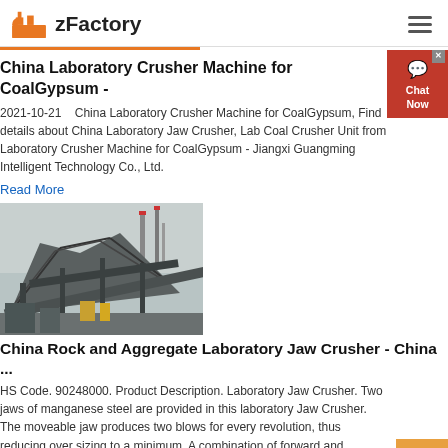zFactory
China Laboratory Crusher Machine for CoalGypsum -
2021-10-21    China Laboratory Crusher Machine for CoalGypsum, Find details about China Laboratory Jaw Crusher, Lab Coal Crusher Unit from Laboratory Crusher Machine for CoalGypsum - Jiangxi Guangming Intelligent Technology Co., Ltd.
Read More
[Figure (photo): Industrial rock crusher / aggregate machinery at a quarry or mining site, showing large metal conveyor structures and heavy equipment outdoors]
China Rock and Aggregate Laboratory Jaw Crusher - China ...
HS Code. 90248000. Product Description. Laboratory Jaw Crusher. Two jaws of manganese steel are provided in this laboratory Jaw Crusher. The moveable jaw produces two blows for every revolution, thus reducing over sizing to a minimum. A combination of forward and downward strokes with a rocking action exerts pressure on the coarser material